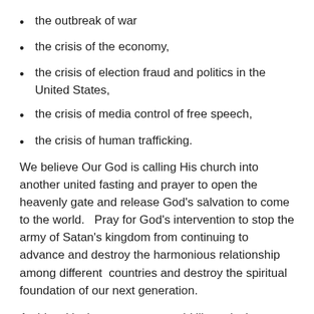the outbreak of war
the crisis of the economy,
the crisis of election fraud and politics in the United States,
the crisis of media control of free speech,
the crisis of human trafficking.
We believe Our God is calling His church into another united fasting and prayer to open the heavenly gate and release God's salvation to come to the world.   Pray for God's intervention to stop the army of Satan's kingdom from continuing to advance and destroy the harmonious relationship among different  countries and destroy the spiritual foundation of our next generation.
At this critical moment, we would like to invite Christians  all over the world to join this Global 40-day fast and pray.   We believe God will transform nations from Glory to Glory and